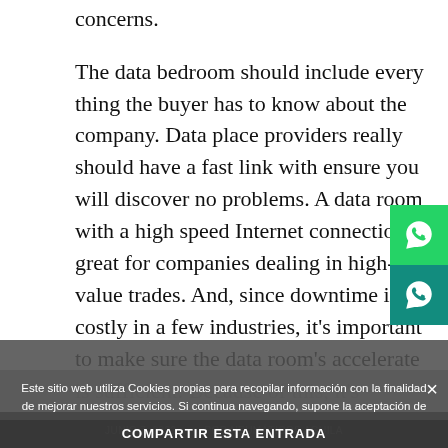concerns.
The data bedroom should include every thing the buyer has to know about the company. Data place providers really should have a fast link with ensure you will discover no problems. A data room with a high speed Internet connection is great for companies dealing in high-value trades. And, since downtime is costly in a few industries, it's important to make sure the data room's accelerate is sufficient. Because of this, it's important to evaluate a data room's customer support service plan before you make a choice.
Este sitio web utiliza Cookies propias para recopilar información con la finalidad de mejorar nuestros servicios. Si continua navegando, supone la aceptación de la instalación de las mismas. El usuario tiene la posibilidad de configurar su navegador pudiendo, si así lo desea, impedir que sean instaladas en su disco duro, aunque deberá tener en cuenta que dicha acción podra ocasionar dificultades de navegación de la página web.
Aceptar   Cómo configurar
JUNIO 7, 2022   POR NEUMATICOS AGUILA
COMPARTIR ESTA ENTRADA